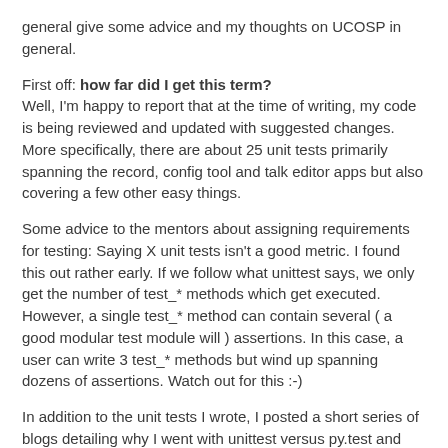general give some advice and my thoughts on UCOSP in general.
First off: how far did I get this term?
Well, I'm happy to report that at the time of writing, my code is being reviewed and updated with suggested changes. More specifically, there are about 25 unit tests primarily spanning the record, config tool and talk editor apps but also covering a few other easy things.
Some advice to the mentors about assigning requirements for testing: Saying X unit tests isn't a good metric. I found this out rather early. If we follow what unittest says, we only get the number of test_* methods which get executed. However, a single test_* method can contain several ( a good modular test module will ) assertions. In this case, a user can write 3 test_* methods but wind up spanning dozens of assertions. Watch out for this :-)
In addition to the unit tests I wrote, I posted a short series of blogs detailing why I went with unittest versus py.test and some documentation for extending and running Freeseer's